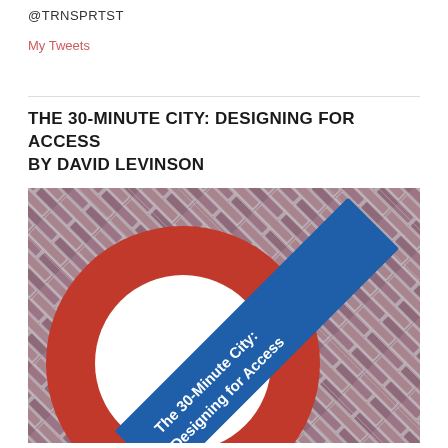@TRNSPRTST
My Tweets
THE 30-MINUTE CITY: DESIGNING FOR ACCESS BY DAVID LEVINSON
[Figure (photo): Book cover photo of 'The 30-Minute City: Designing for Access' by David Levinson, showing a London Underground-style roundel sign with red circle on a brick wall background, with a blue diagonal banner across it reading 'The 30-Minute City: Designing for Access']